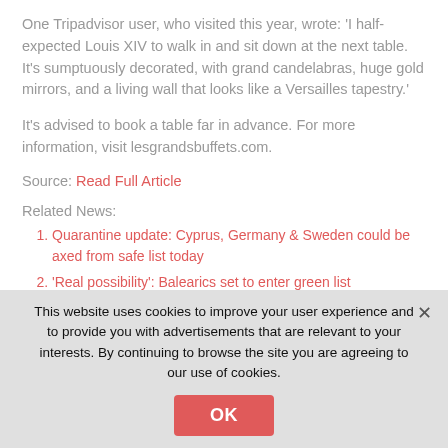One Tripadvisor user, who visited this year, wrote: 'I half-expected Louis XIV to walk in and sit down at the next table. It's sumptuously decorated, with grand candelabras, huge gold mirrors, and a living wall that looks like a Versailles tapestry.'
It's advised to book a table far in advance. For more information, visit lesgrandsbuffets.com.
Source: Read Full Article
Related News:
Quarantine update: Cyprus, Germany & Sweden could be axed from safe list today
'Real possibility': Balearics set to enter green list
This website uses cookies to improve your user experience and to provide you with advertisements that are relevant to your interests. By continuing to browse the site you are agreeing to our use of cookies.